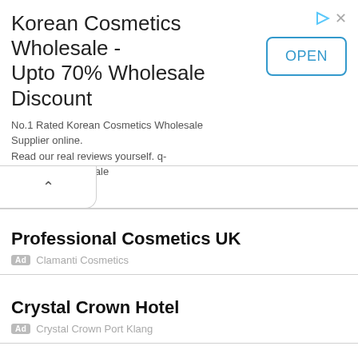[Figure (screenshot): Ad banner for Korean Cosmetics Wholesale with OPEN button]
Korean Cosmetics Wholesale - Upto 70% Wholesale Discount
No.1 Rated Korean Cosmetics Wholesale Supplier online. Read our real reviews yourself. q-depot.com/wholesale
Professional Cosmetics UK
Ad  Clamanti Cosmetics
Crystal Crown Hotel
Ad  Crystal Crown Port Klang
Search London Property
Ad  Chase Evans